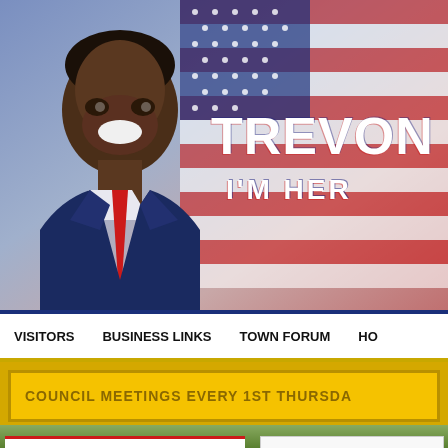[Figure (photo): Campaign banner showing a smiling Black man in a navy suit with red tie, posed in front of a blurred American flag background. Large text reads 'TREVON CO...' and 'I'M HER...' in white bold letters with red and blue outline effects.]
VISITORS   BUSINESS LINKS   TOWN FORUM   HO...
COUNCIL MEETINGS EVERY 1ST THURSDA...